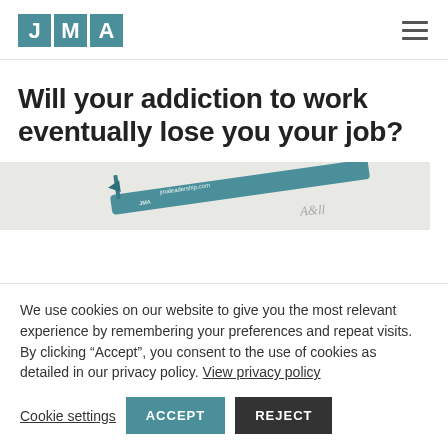JMA
Will your addiction to work eventually lose you your job?
[Figure (photo): Close-up photo of a teal/blue JMA branded pen resting on white paper with a signature, showing jmaleadership.com text on the pen]
We use cookies on our website to give you the most relevant experience by remembering your preferences and repeat visits. By clicking “Accept”, you consent to the use of cookies as detailed in our privacy policy. View privacy policy
Cookie settings   ACCEPT   REJECT